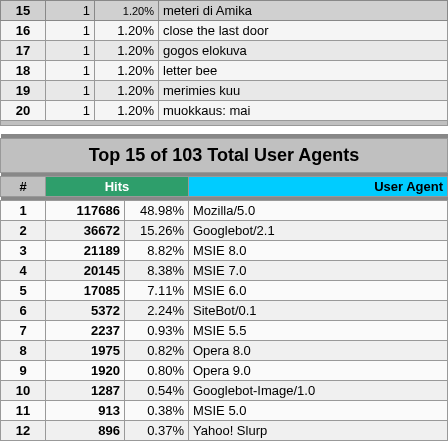| # |  |  |  |
| --- | --- | --- | --- |
| 16 | 1 | 1.20% | close the last door |
| 17 | 1 | 1.20% | gogos elokuva |
| 18 | 1 | 1.20% | letter bee |
| 19 | 1 | 1.20% | merimies kuu |
| 20 | 1 | 1.20% | muokkaus: mai |
| # | Hits |  | User Agent |
| --- | --- | --- | --- |
| 1 | 117686 | 48.98% | Mozilla/5.0 |
| 2 | 36672 | 15.26% | Googlebot/2.1 |
| 3 | 21189 | 8.82% | MSIE 8.0 |
| 4 | 20145 | 8.38% | MSIE 7.0 |
| 5 | 17085 | 7.11% | MSIE 6.0 |
| 6 | 5372 | 2.24% | SiteBot/0.1 |
| 7 | 2237 | 0.93% | MSIE 5.5 |
| 8 | 1975 | 0.82% | Opera 8.0 |
| 9 | 1920 | 0.80% | Opera 9.0 |
| 10 | 1287 | 0.54% | Googlebot-Image/1.0 |
| 11 | 913 | 0.38% | MSIE 5.0 |
| 12 | 896 | 0.37% | Yahoo! Slurp |